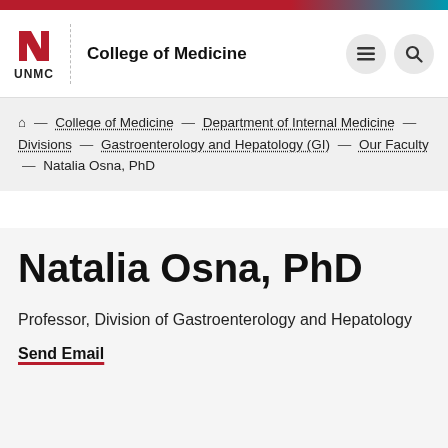UNMC College of Medicine
Home — College of Medicine — Department of Internal Medicine — Divisions — Gastroenterology and Hepatology (GI) — Our Faculty — Natalia Osna, PhD
Natalia Osna, PhD
Professor, Division of Gastroenterology and Hepatology
Send Email